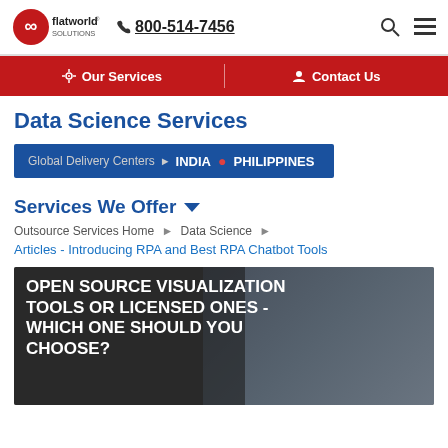flatworld solutions | 800-514-7456
Our Services | Contact Us
Data Science Services
Global Delivery Centers > INDIA • PHILIPPINES
Services We Offer
Outsource Services Home > Data Science >
Articles - Introducing RPA and Best RPA Chatbot Tools
[Figure (photo): Banner image with dark overlay showing text: OPEN SOURCE VISUALIZATION TOOLS OR LICENSED ONES - WHICH ONE SHOULD YOU CHOOSE?]